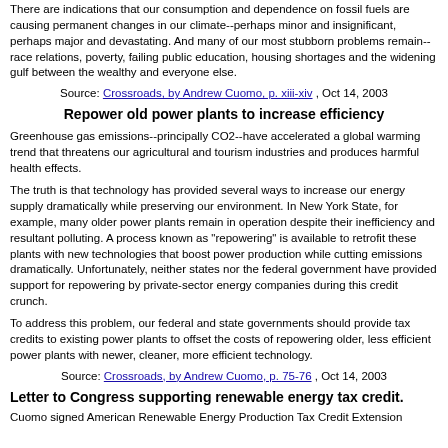There are indications that our consumption and dependence on fossil fuels are causing permanent changes in our climate--perhaps minor and insignificant, perhaps major and devastating. And many of our most stubborn problems remain--race relations, poverty, failing public education, housing shortages and the widening gulf between the wealthy and everyone else.
Source: Crossroads, by Andrew Cuomo, p. xiii-xiv , Oct 14, 2003
Repower old power plants to increase efficiency
Greenhouse gas emissions--principally CO2--have accelerated a global warming trend that threatens our agricultural and tourism industries and produces harmful health effects.
The truth is that technology has provided several ways to increase our energy supply dramatically while preserving our environment. In New York State, for example, many older power plants remain in operation despite their inefficiency and resultant polluting. A process known as "repowering" is available to retrofit these plants with new technologies that boost power production while cutting emissions dramatically. Unfortunately, neither states nor the federal government have provided support for repowering by private-sector energy companies during this credit crunch.
To address this problem, our federal and state governments should provide tax credits to existing power plants to offset the costs of repowering older, less efficient power plants with newer, cleaner, more efficient technology.
Source: Crossroads, by Andrew Cuomo, p. 75-76 , Oct 14, 2003
Letter to Congress supporting renewable energy tax credit.
Cuomo signed American Renewable Energy Production Tax Credit Extension